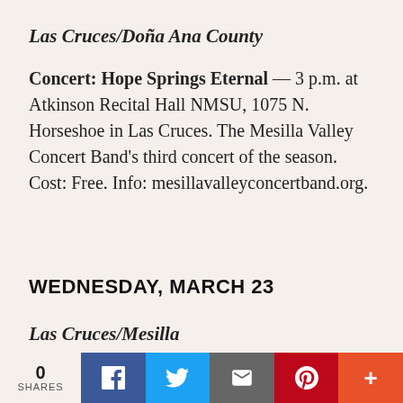Las Cruces/Doña Ana County
Concert: Hope Springs Eternal — 3 p.m. at Atkinson Recital Hall NMSU, 1075 N. Horseshoe in Las Cruces. The Mesilla Valley Concert Band's third concert of the season. Cost: Free. Info: mesillavalleyconcertband.org.
WEDNESDAY, MARCH 23
Las Cruces/Mesilla
[Figure (other): Social sharing bar with share count (0 SHARES), Facebook, Twitter, Email, Pinterest, and more (+) buttons]